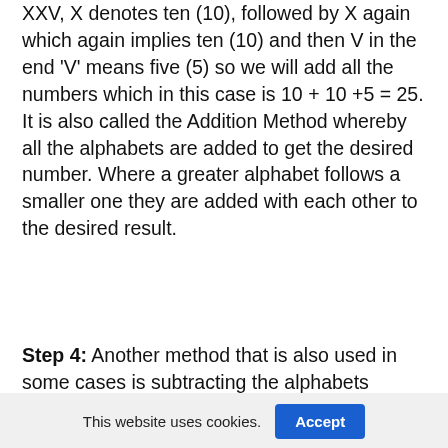XXV, X denotes ten (10), followed by X again which again implies ten (10) and then V in the end 'V' means five (5) so we will add all the numbers which in this case is 10 + 10 +5 = 25. It is also called the Addition Method whereby all the alphabets are added to get the desired number. Where a greater alphabet follows a smaller one they are added with each other to the desired result.
Step 4: Another method that is also used in some cases is subtracting the alphabets
This website uses cookies. Accept